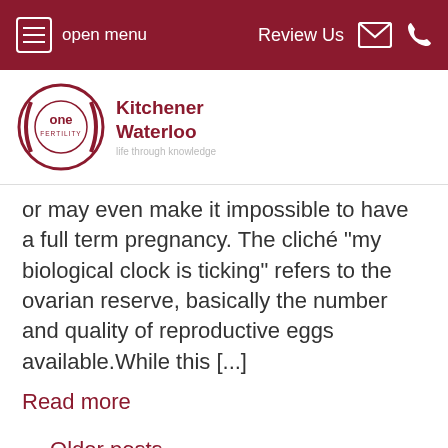open menu   Review Us
[Figure (logo): One Fertility logo with text 'Kitchener Waterloo - life through knowledge']
or may even make it impossible to have a full term pregnancy. The cliché “my biological clock is ticking” refers to the ovarian reserve, basically the number and quality of reproductive eggs available.While this [...]
Read more
← Older posts
Address